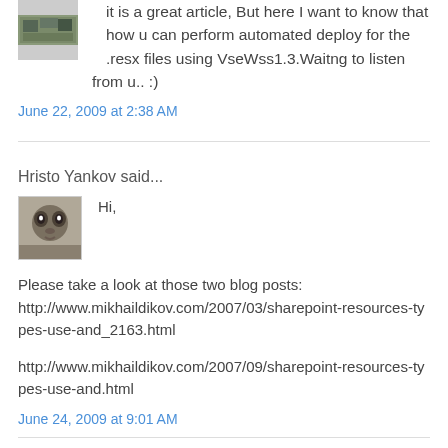It is a great article, But here I want to know that how u can perform automated deploy for the .resx files using VseWss1.3.Waitng to listen from u.. :)
June 22, 2009 at 2:38 AM
Hristo Yankov said...
Hi,
Please take a look at those two blog posts: http://www.mikhaildikov.com/2007/03/sharepoint-resources-types-use-and_2163.html
http://www.mikhaildikov.com/2007/09/sharepoint-resources-types-use-and.html
June 24, 2009 at 9:01 AM
Anonymous said...
Hi,